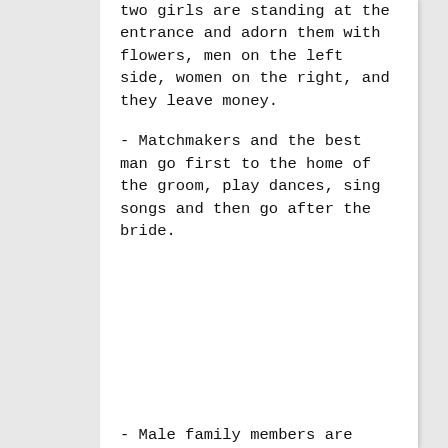two girls are standing at the entrance and adorn them with flowers,  men on the left side, women on the right, and they leave money.
- Matchmakers and the best man go first to the home of the groom, play dances, sing songs and then go after the bride.
- Male family members are